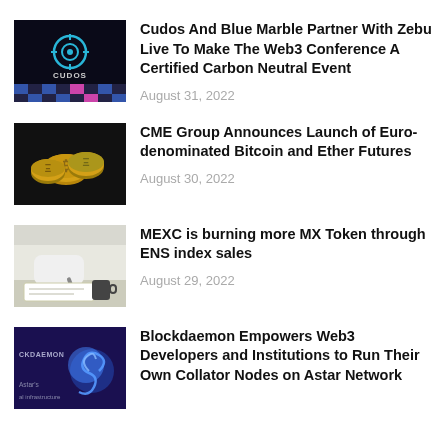[Figure (photo): CUDOS logo on dark background with colorful checkered pattern at bottom]
Cudos And Blue Marble Partner With Zebu Live To Make The Web3 Conference A Certified Carbon Neutral Event
August 31, 2022
[Figure (photo): Golden cryptocurrency coins including Bitcoin on dark background]
CME Group Announces Launch of Euro-denominated Bitcoin and Ether Futures
August 30, 2022
[Figure (photo): Person in white coat writing or working at a desk]
MEXC is burning more MX Token through ENS index sales
August 29, 2022
[Figure (photo): Blockdaemon logo on dark purple background with Astar network branding]
Blockdaemon Empowers Web3 Developers and Institutions to Run Their Own Collator Nodes on Astar Network